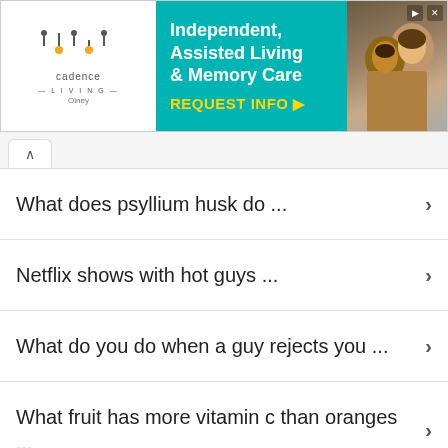[Figure (screenshot): Advertisement banner for Cadence Living Olney — Independent, Assisted Living & Memory Care with REQUEST INFO button]
What does psyllium husk do ...
Netflix shows with hot guys ...
What do you do when a guy rejects you ...
What fruit has more vitamin c than oranges ...